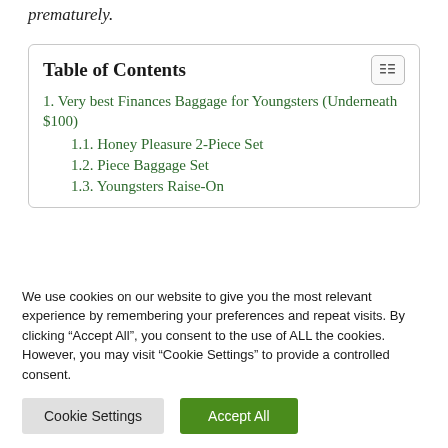prematurely.
Table of Contents
1. Very best Finances Baggage for Youngsters (Underneath $100)
1.1. Honey Pleasure 2-Piece Set
1.2. Piece Baggage Set
1.3. Youngsters Raise-On
We use cookies on our website to give you the most relevant experience by remembering your preferences and repeat visits. By clicking “Accept All”, you consent to the use of ALL the cookies. However, you may visit “Cookie Settings” to provide a controlled consent.